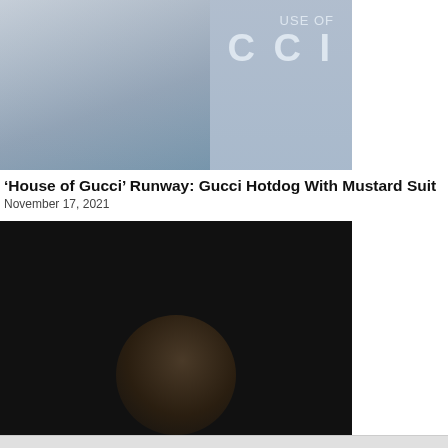[Figure (photo): A blonde woman wearing a red dress and gold necklace, standing in front of a 'House of Gucci' backdrop showing 'USE OF GUCCI' text.]
'House of Gucci' Runway: Gucci Hotdog With Mustard Suit
November 17, 2021
[Figure (photo): A Black man with a microphone performing stand-up comedy, wearing a camouflage jacket, on a dark stage.]
Comedians Pay Tribute To 'Fearless Comic' Jak Knight, Dead At 28
July 16, 2022